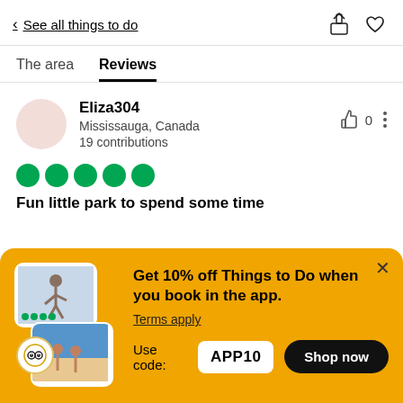< See all things to do
The area   Reviews
Eliza304
Mississauga, Canada
19 contributions
[Figure (other): Five green filled circles indicating a 5-star rating]
Fun little park to spend some time
[Figure (infographic): Promotional banner with yellow background, showing app promo images, TripAdvisor badge, text 'Get 10% off Things to Do when you book in the app.', Terms apply link, use code APP10, and Shop now button]